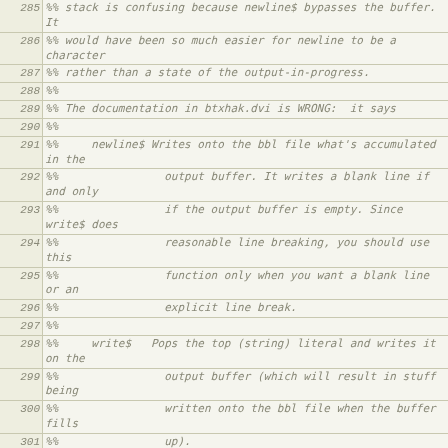| Line | Code |
| --- | --- |
| 285 | %% stack is confusing because newline$ bypasses the buffer.  It |
| 286 | %% would have been so much easier for newline to be a character |
| 287 | %% rather than a state of the output-in-progress. |
| 288 | %% |
| 289 | %% The documentation in btxhak.dvi is WRONG:  it says |
| 290 | %% |
| 291 | %%    newline$ Writes onto the bbl file what's accumulated in the |
| 292 | %%                output buffer. It writes a blank line if and only |
| 293 | %%                if the output buffer is empty. Since write$ does |
| 294 | %%                reasonable line breaking, you should use this |
| 295 | %%                function only when you want a blank line or an |
| 296 | %%                explicit line break. |
| 297 | %% |
| 298 | %%    write$  Pops the top (string) literal and writes it on the |
| 299 | %%                output buffer (which will result in stuff being |
| 300 | %%                written onto the bbl file when the buffer fills |
| 301 | %%                up). |
| 302 | %% |
| 303 | %% Examination of the BibTeX source code shows that write$ does |
| 304 | %% indeed behave as claimed, but newline$ sends a newline character |
| 305 | %% directly to the output file, leaving the stack unchanged.  The |
| 306 |  |